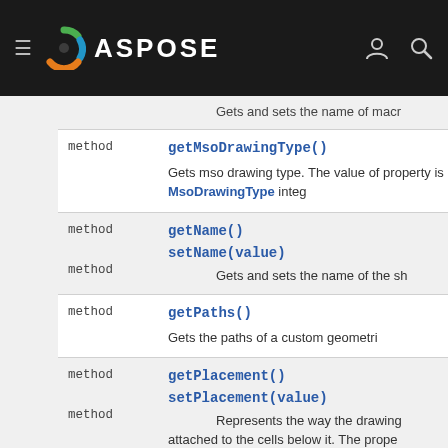ASPOSE
| type | method/description |
| --- | --- |
|  | Gets and sets the name of mac... |
| method | getMsoDrawingType()
Gets mso drawing type. The value of property is MsoDrawingType integ... |
| method | getName()
method setName(value)
Gets and sets the name of the sh... |
| method | getPaths()
Gets the paths of a custom geometri... |
| method | getPlacement()
method setPlacement(value)
Represents the way the drawing attached to the cells below it. The prope... the placement of an object on a works... |